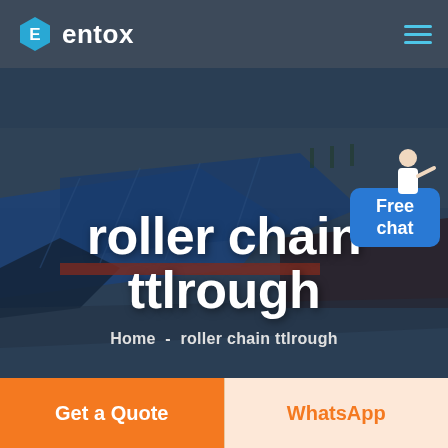entox
[Figure (photo): Aerial/overhead view of a large industrial building complex with blue rooftops, used as hero background image for the entox website]
roller chain ttlrough
Home  -  roller chain ttlrough
Free chat
Get a Quote
WhatsApp